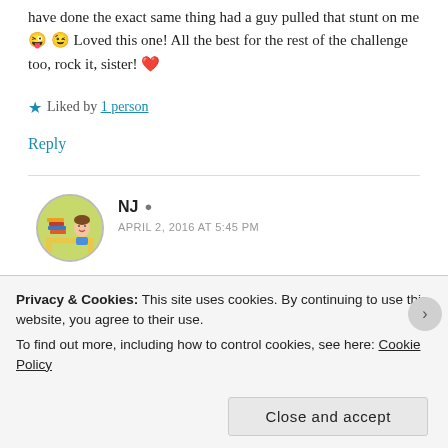have done the exact same thing had a guy pulled that stunt on me 😜 😉 Loved this one! All the best for the rest of the challenge too, rock it, sister! ❤
★ Liked by 1 person
Reply
NJ  APRIL 2, 2016 AT 5:45 PM
Thank you so much dear 🙂 I am glad that you are
Privacy & Cookies: This site uses cookies. By continuing to use this website, you agree to their use. To find out more, including how to control cookies, see here: Cookie Policy
Close and accept